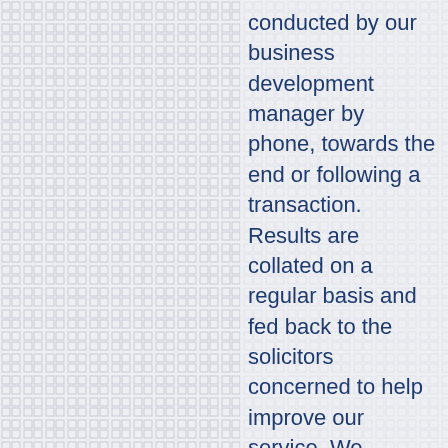conducted by our business development manager by phone, towards the end or following a transaction. Results are collated on a regular basis and fed back to the solicitors concerned to help improve our service. We believe that this attention to client service is one of the many factors that sets us clearly apart from our competitors and helps our growth.